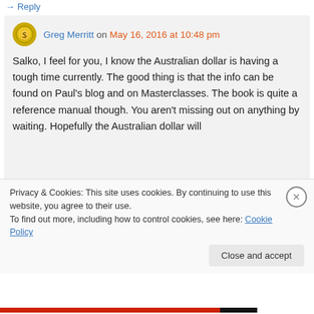Reply
Greg Merritt on May 16, 2016 at 10:48 pm
Salko, I feel for you, I know the Australian dollar is having a tough time currently. The good thing is that the info can be found on Paul's blog and on Masterclasses. The book is quite a reference manual though. You aren't missing out on anything by waiting. Hopefully the Australian dollar will
Privacy & Cookies: This site uses cookies. By continuing to use this website, you agree to their use.
To find out more, including how to control cookies, see here: Cookie Policy
Close and accept